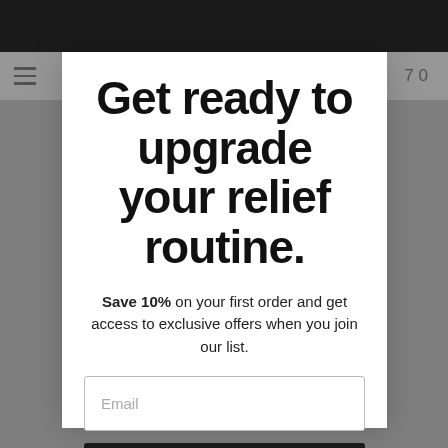Get ready to upgrade your relief routine.
Save 10% on your first order and get access to exclusive offers when you join our list.
Email
Continue